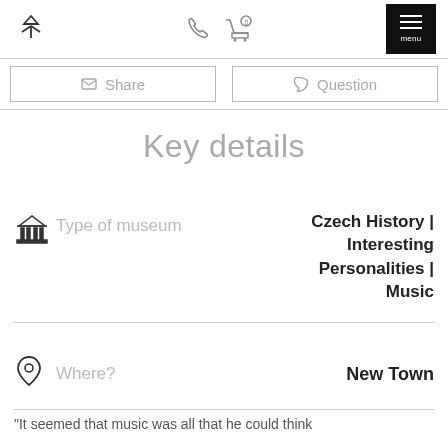[Logo icon] [Phone icon] [Cart icon] menu
Share  Question
Key details
Type of museum   Czech History | Interesting Personalities | Music
Where?   New Town
“It seemed that music was all that he could think